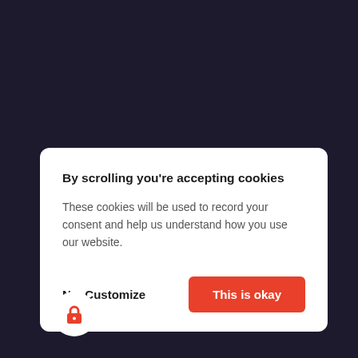By scrolling you're accepting cookies
These cookies will be used to record your consent and help us understand how you use our website.
No, Customize
This is okay
[Figure (illustration): A white circle containing a red lock icon]